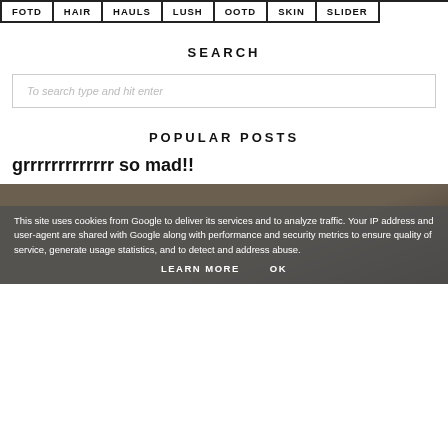FOTD | HAIR | HAULS | LUSH | OOTD | SKIN | SLIDER
SEARCH
To search type and hit enter
POPULAR POSTS
grrrrrrrrrrr so mad!!
[Figure (photo): Partial photo visible behind cookie overlay, showing a dark warm-toned background.]
This site uses cookies from Google to deliver its services and to analyze traffic. Your IP address and user-agent are shared with Google along with performance and security metrics to ensure quality of service, generate usage statistics, and to detect and address abuse.
LEARN MORE    OK